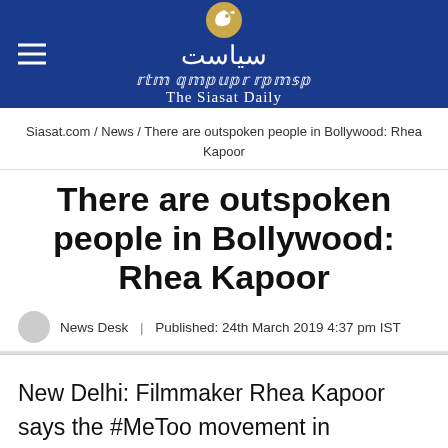[Figure (logo): The Siasat Daily logo with Arabic script, bird emblem, and English tagline on dark blue background]
Siasat.com / News / There are outspoken people in Bollywood: Rhea Kapoor
There are outspoken people in Bollywood: Rhea Kapoor
News Desk | Published: 24th March 2019 4:37 pm IST
New Delhi: Filmmaker Rhea Kapoor says the #MeToo movement in Bollywood was a big step in the right direction for women finding their voice and there are now a lot of